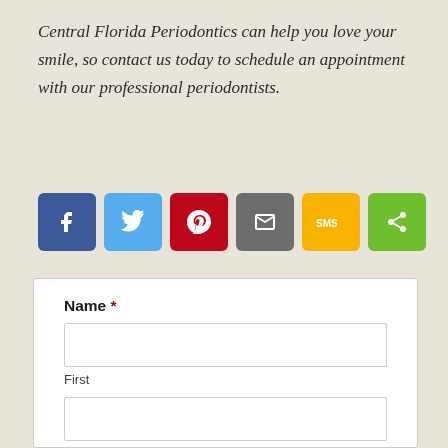Central Florida Periodontics can help you love your smile, so contact us today to schedule an appointment with our professional periodontists.
[Figure (infographic): Row of six social media share buttons: Facebook (blue), Twitter (light blue), Pinterest (red), Email (grey), SMS (yellow), Share (green)]
Name * First Last Email *